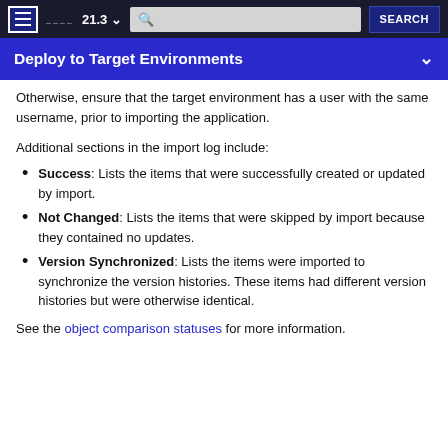≡  21.3 ∨  [search]  SEARCH
Deploy to Target Environments
Otherwise, ensure that the target environment has a user with the same username, prior to importing the application.
Additional sections in the import log include:
Success: Lists the items that were successfully created or updated by import.
Not Changed: Lists the items that were skipped by import because they contained no updates.
Version Synchronized: Lists the items were imported to synchronize the version histories. These items had different version histories but were otherwise identical.
See the object comparison statuses for more information.